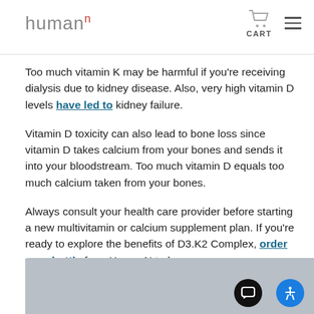humann CART
Too much vitamin K may be harmful if you're receiving dialysis due to kidney disease. Also, very high vitamin D levels have led to kidney failure.
Vitamin D toxicity can also lead to bone loss since vitamin D takes calcium from your bones and sends it into your bloodstream. Too much vitamin D equals too much calcium taken from your bones.
Always consult your health care provider before starting a new multivitamin or calcium supplement plan. If you're ready to explore the benefits of D3.K2 Complex, order your bottle from HumanN today.
[Figure (photo): Partial image, gray rectangle visible at bottom of page with chat and accessibility buttons overlaid]